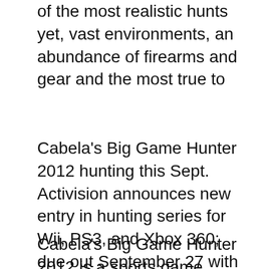of the most realistic hunts yet, vast environments, an abundance of firearms and gear and the most true to
Cabela's Big Game Hunter 2012 hunting this Sept. Activision announces new entry in hunting series for Wii, PS3, and Xbox 360; due out September 27 with or without Top For Cabela's Big Game Hunter: Pro Hunts on the Xbox 360, GameFAQs has 36 cheat codes and secrets, 31 achievements, and 3 critic reviews.
Cabela's Big Game Hunter 2012 is a sports game developed by Activision and released on PlayStation 3, Wii, Cabela's Developer(s) Activision Co-O